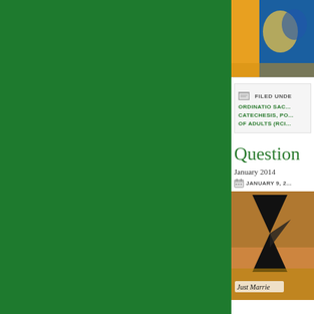[Figure (photo): Green sidebar/panel on left side of the page]
[Figure (photo): Colorful religious or artistic image at top right, partially visible]
FILED UNDER: ORDINATIO SACERDOTALIS, CATECHESIS, RITE OF CHRISTIAN INITIATION OF ADULTS (RCIA)
Question
January 2014
JANUARY 9, 2...
[Figure (photo): Photo of a Just Married car with champagne glasses decoration]